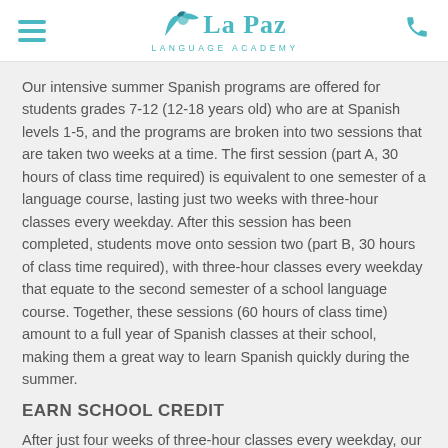La Paz Language Academy
Our intensive summer Spanish programs are offered for students grades 7-12 (12-18 years old) who are at Spanish levels 1-5, and the programs are broken into two sessions that are taken two weeks at a time. The first session (part A, 30 hours of class time required) is equivalent to one semester of a language course, lasting just two weeks with three-hour classes every weekday. After this session has been completed, students move onto session two (part B, 30 hours of class time required), with three-hour classes every weekday that equate to the second semester of a school language course. Together, these sessions (60 hours of class time) amount to a full year of Spanish classes at their school, making them a great way to learn Spanish quickly during the summer.
EARN SCHOOL CREDIT
After just four weeks of three-hour classes every weekday, our intensive Spanish students complete the equivalent of